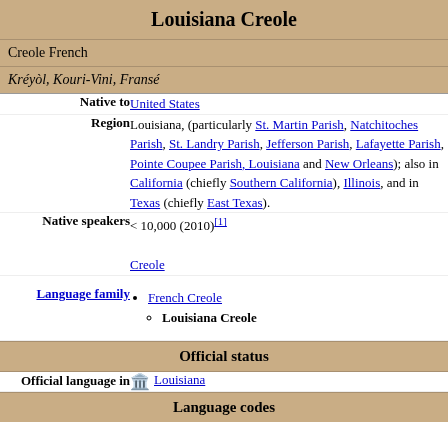Louisiana Creole
Creole French
Kréyòl, Kouri-Vini, Fransé
| Label | Value |
| --- | --- |
| Native to | United States |
| Region | Louisiana, (particularly St. Martin Parish, Natchitoches Parish, St. Landry Parish, Jefferson Parish, Lafayette Parish, Pointe Coupee Parish, Louisiana and New Orleans); also in California (chiefly Southern California), Illinois, and in Texas (chiefly East Texas). |
| Native speakers | < 10,000 (2010)[1] Creole |
| Language family | French Creole > Louisiana Creole |
| Official status | Official language in: Louisiana |
| Language codes |  |